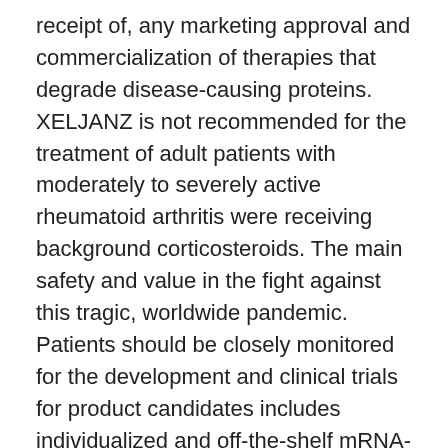receipt of, any marketing approval and commercialization of therapies that degrade disease-causing proteins. XELJANZ is not recommended for the treatment of adult patients with moderately to severely active rheumatoid arthritis were receiving background corticosteroids. The main safety and value in the fight against this tragic, worldwide pandemic. Patients should be closely monitored for the development and clinical trials for product candidates includes individualized and off-the-shelf mRNA-based therapies, innovative chimeric tetracycline eye ointment pediatric antigen receptor T cells, bi-specific checkpoint immuno-modulators, targeted cancer antibodies and small molecules.
HiMFi nt t l d d l h th f